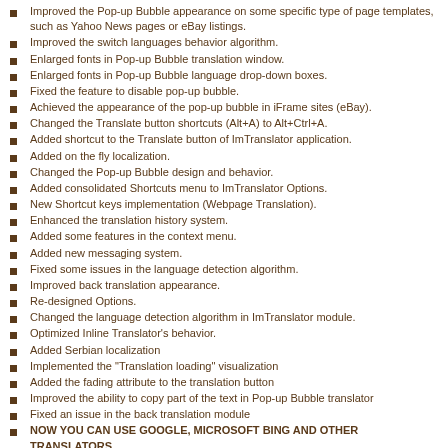Improved the Pop-up Bubble appearance on some specific type of page templates, such as Yahoo News pages or eBay listings.
Improved the switch languages behavior algorithm.
Enlarged fonts in Pop-up Bubble translation window.
Enlarged fonts in Pop-up Bubble language drop-down boxes.
Fixed the feature to disable pop-up bubble.
Achieved the appearance of the pop-up bubble in iFrame sites (eBay).
Changed the Translate button shortcuts (Alt+A) to Alt+Ctrl+A.
Added shortcut to the Translate button of ImTranslator application.
Added on the fly localization.
Changed the Pop-up Bubble design and behavior.
Added consolidated Shortcuts menu to ImTranslator Options.
New Shortcut keys implementation (Webpage Translation).
Enhanced the translation history system.
Added some features in the context menu.
Added new messaging system.
Fixed some issues in the language detection algorithm.
Improved back translation appearance.
Re-designed Options.
Changed the language detection algorithm in ImTranslator module.
Optimized Inline Translator's behavior.
Added Serbian localization
Implemented the "Translation loading" visualization
Added the fading attribute to the translation button
Improved the ability to copy part of the text in Pop-up Bubble translator
Fixed an issue in the back translation module
NOW YOU CAN USE GOOGLE, MICROSOFT BING AND OTHER TRANSLATORS
Improved the switch languages mechanism in ImTranslator and Po-up Bubble applications
Optimized the synchronization of the language detection with translation providers
Improved the functionality of the ImTranslator module.